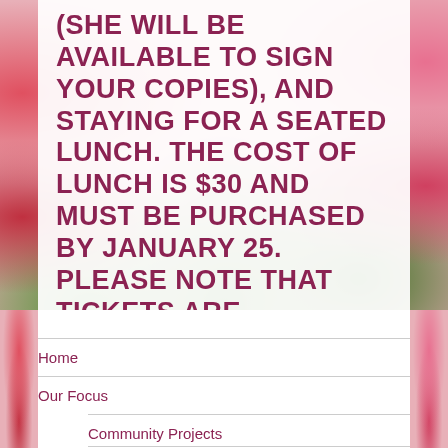(SHE WILL BE AVAILABLE TO SIGN YOUR COPIES), AND STAYING FOR A SEATED LUNCH. THE COST OF LUNCH IS $30 AND MUST BE PURCHASED BY JANUARY 25. PLEASE NOTE THAT TICKETS ARE TRANSFERABLE BUT NOT REFUNDABLE.
Home
Our Focus
Community Projects